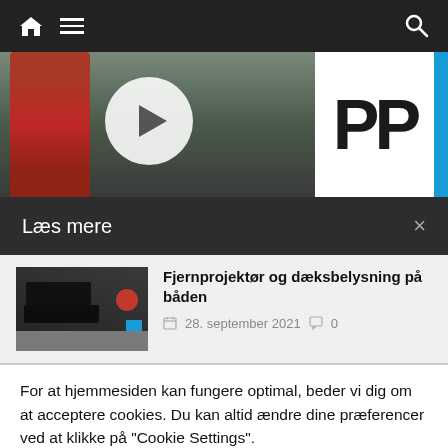[Figure (screenshot): Website navigation bar with home icon, hamburger menu, and search icon on dark background]
[Figure (screenshot): Hero image area showing person in red jacket with play button circle overlay, and 'PP' logo on right with blue vertical bar]
Læs mere
[Figure (photo): Thumbnail of LED spotlight/deck lighting on a boat]
Fjernprojektør og dæksbelysning på båden
28. september 2021   0
For at hjemmesiden kan fungere optimal, beder vi dig om at acceptere cookies. Du kan altid ændre dine præferencer ved at klikke på "Cookie Settings".
Cookie Settings   Accepter cookies